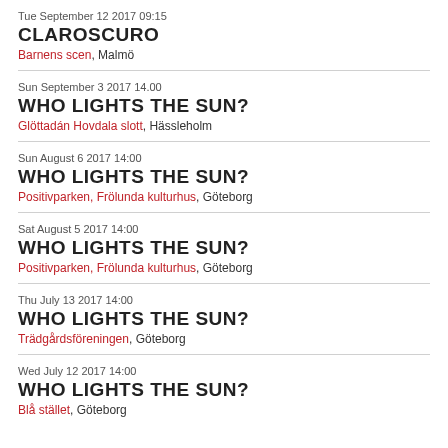Tue September 12 2017 09:15
CLAROSCURO
Barnens scen, Malmö
Sun September 3 2017 14.00
WHO LIGHTS THE SUN?
Glöttadán Hovdala slott, Hässleholm
Sun August 6 2017 14:00
WHO LIGHTS THE SUN?
Positivparken, Frölunda kulturhus, Göteborg
Sat August 5 2017 14:00
WHO LIGHTS THE SUN?
Positivparken, Frölunda kulturhus, Göteborg
Thu July 13 2017 14:00
WHO LIGHTS THE SUN?
Trädgårdsföreningen, Göteborg
Wed July 12 2017 14:00
WHO LIGHTS THE SUN?
Blå stället, Göteborg